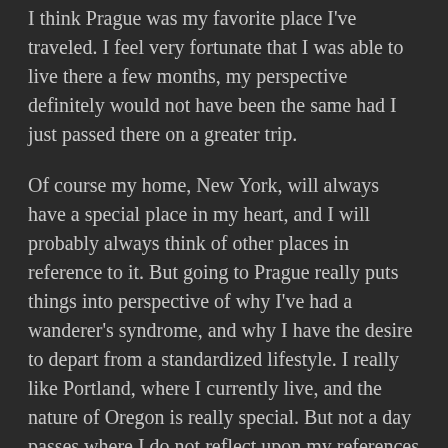I think Prague was my favorite place I've traveled. I feel very fortunate that I was able to live there a few months, my perspective definitely would not have been the same had I just passed there on a greater trip.
Of course my home, New York, will always have a special place in my heart, and I will probably always think of other places in reference to it. But going to Prague really puts things into perspective of why I've had a wanderer's syndrome, and why I have the desire to depart from a standardized lifestyle. I really like Portland, where I currently live, and the nature of Oregon is really special. But not a day passes where I do not reflect upon my references on the Czech Republic.
I'll always remember my flight to Prague from JFK, through Czech Airlines, a surreal airline with planes